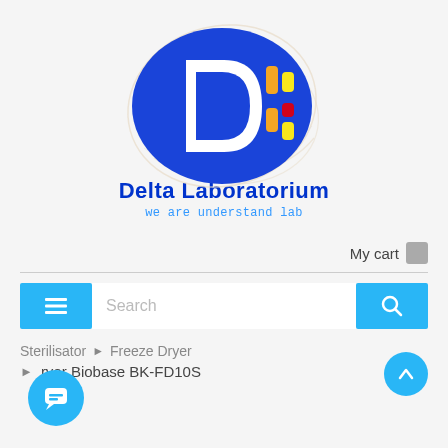[Figure (logo): Delta Laboratorium logo: blue oval with white D-shape and colored vertical bar indicators (orange, yellow, red), with swirling decorative lines behind.]
Delta Laboratorium
we are understand lab
My cart
Search
Sterilisator ▶ Freeze Dryer
▶ ryer Biobase BK-FD10S